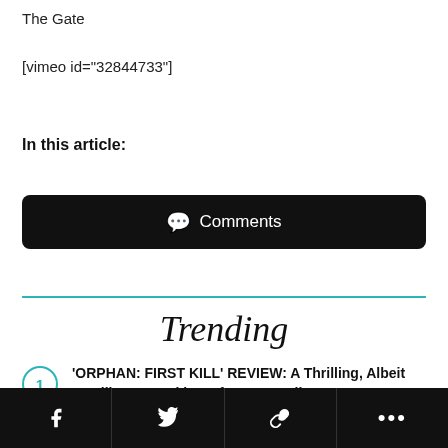The Gate
[vimeo id="32844733"]
In this article:
💬 Comments
Trending
'ORPHAN: FIRST KILL' REVIEW: A Thrilling, Albeit Familiar, Reworking Of Jaume Collet-Serra's
0 Comments
f  🐦  🔗  ...